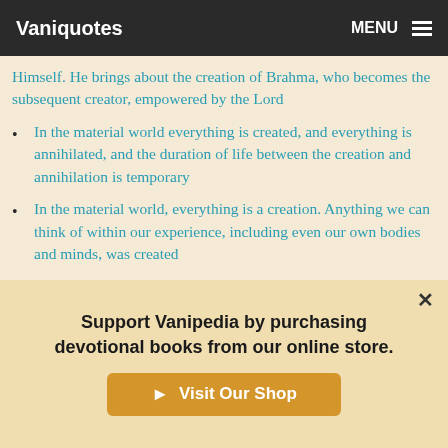Vaniquotes  MENU
Himself. He brings about the creation of Brahma, who becomes the subsequent creator, empowered by the Lord
In the material world everything is created, and everything is annihilated, and the duration of life between the creation and annihilation is temporary
In the material world, everything is a creation. Anything we can think of within our experience, including even our own bodies and minds, was created
In the next creation, the same living entities may not be present, but because Brahma and Siva are existing from the beginning to the end, they are called cira-loka-pala,
Support Vanipedia by purchasing devotional books from our online store.
Visit Our Shop